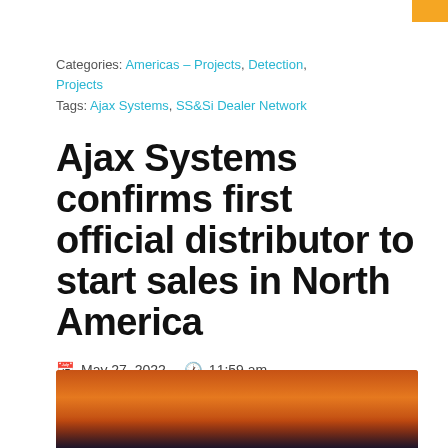Categories: Americas – Projects, Detection, Projects
Tags: Ajax Systems, SS&Si Dealer Network
Ajax Systems confirms first official distributor to start sales in North America
May 27, 2022   11:59 am
[Figure (photo): Partial view of a sunset/dusk sky photograph with orange and dark tones, appears to show a building silhouette at bottom]